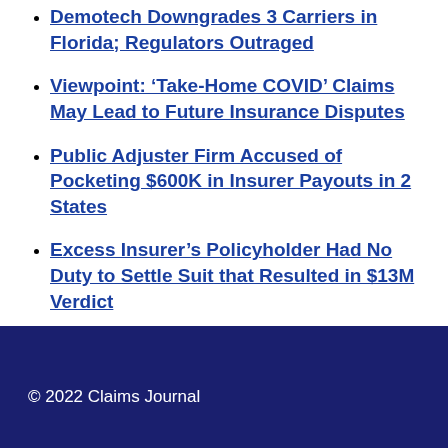Demotech Downgrades 3 Carriers in Florida; Regulators Outraged
Viewpoint: ‘Take-Home COVID’ Claims May Lead to Future Insurance Disputes
Public Adjuster Firm Accused of Pocketing $600K in Insurer Payouts in 2 States
Excess Insurer’s Policyholder Had No Duty to Settle Suit that Resulted in $13M Verdict
© 2022 Claims Journal